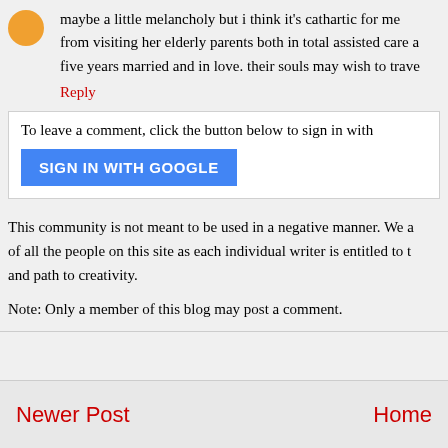maybe a little melancholy but i think it's cathartic for me... from visiting her elderly parents both in total assisted care a... five years married and in love. their souls may wish to trave...
Reply
To leave a comment, click the button below to sign in with
SIGN IN WITH GOOGLE
This community is not meant to be used in a negative manner. We a... of all the people on this site as each individual writer is entitled to t... and path to creativity.
Note: Only a member of this blog may post a comment.
Newer Post
Home